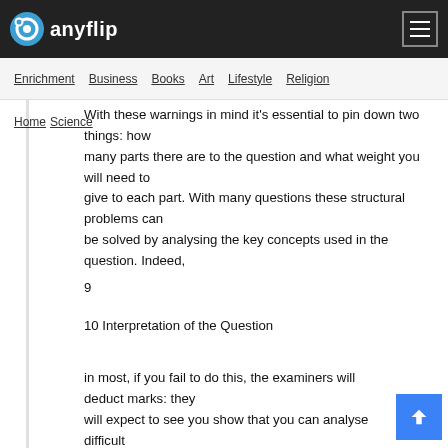anyflip
Enrichment  Business  Books  Art  Lifestyle  Religion
Home  Science
With these warnings in mind it's essential to pin down two things: how many parts there are to the question and what weight you will need to give to each part. With many questions these structural problems can be solved by analysing the key concepts used in the question. Indeed,
9
10 Interpretation of the Question
in most, if you fail to do this, the examiners will deduct marks: they will expect to see you show that you can analyse difficult